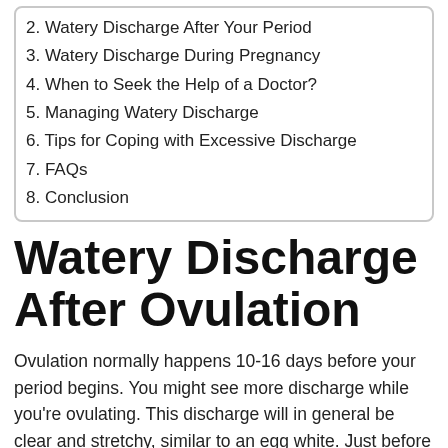2. Watery Discharge After Your Period
3. Watery Discharge During Pregnancy
4. When to Seek the Help of a Doctor?
5. Managing Watery Discharge
6. Tips for Coping with Excessive Discharge
7. FAQs
8. Conclusion
Watery Discharge After Ovulation
Ovulation normally happens 10-16 days before your period begins. You might see more discharge while you’re ovulating. This discharge will in general be clear and stretchy, similar to an egg white. Just before your period starts, the discharge might